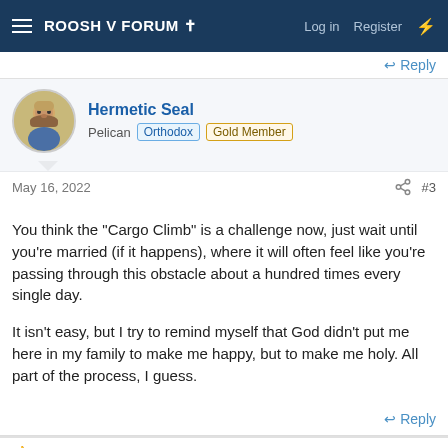ROOSH V FORUM † | Log in | Register
↩︎ Reply
Hermetic Seal
Pelican | Orthodox | Gold Member
May 16, 2022  #3
You think the "Cargo Climb" is a challenge now, just wait until you're married (if it happens), where it will often feel like you're passing through this obstacle about a hundred times every single day.

It isn't easy, but I try to remind myself that God didn't put me here in my family to make me happy, but to make me holy. All part of the process, I guess.
↩︎ Reply
👍 based_boomer, newcomer, Theodora Gee and 8 others